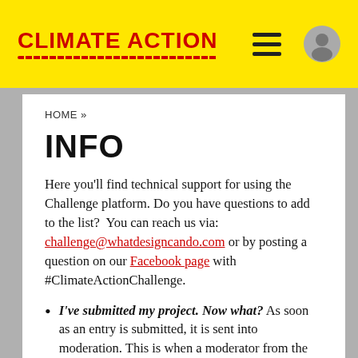CLIMATE ACTION
HOME »
INFO
Here you'll find technical support for using the Challenge platform. Do you have questions to add to the list?  You can reach us via: challenge@whatdesigncando.com or by posting a question on our Facebook page with #ClimateActionChallenge.
I've submitted my project. Now what? As soon as an entry is submitted, it is sent into moderation. This is when a moderator from the WDCD Challenge Team reviews your project and determines if you meet all the general guidelines requested within the